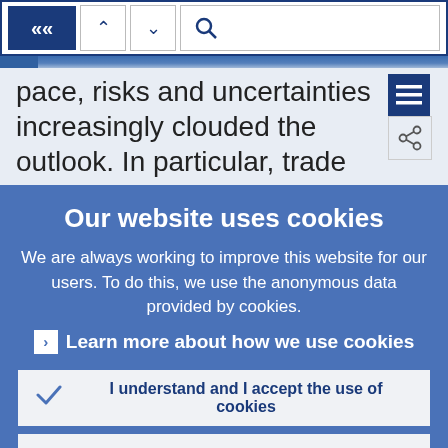[Figure (screenshot): Navigation bar with back (<<), up (^), down (v) arrows, and search icon]
pace, risks and uncertainties increasingly clouded the outlook. In particular, trade
Our website uses cookies
We are always working to improve this website for our users. To do this, we use the anonymous data provided by cookies.
> Learn more about how we use cookies
✓ I understand and I accept the use of cookies
✗ I do not accept the use of cookies